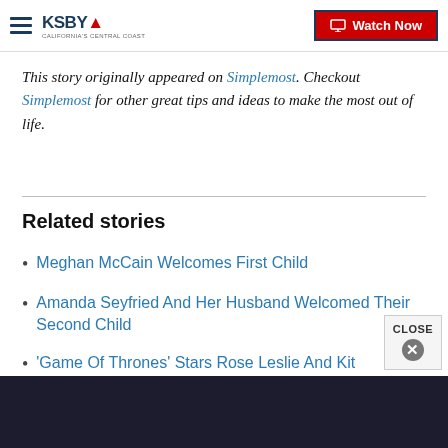KSBY - California's Central Coast | Watch Now
This story originally appeared on Simplemost. Checkout Simplemost for other great tips and ideas to make the most out of life.
Related stories
Meghan McCain Welcomes First Child
Amanda Seyfried And Her Husband Welcomed Their Second Child
'Game Of Thrones' Stars Rose Leslie And Kit Harington Are Expecting Their First Child